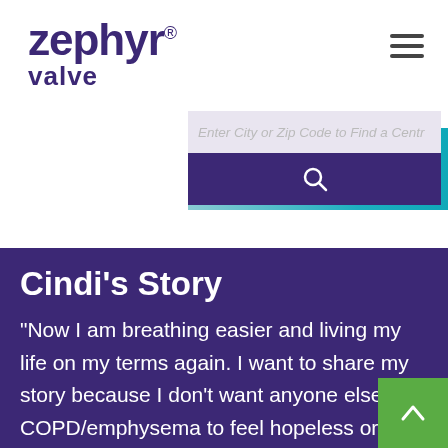[Figure (logo): Zephyr Valve logo in dark purple with registered trademark symbol]
[Figure (screenshot): Search bar with text 'Enter City or Zip Code to Find a Centre' and a purple search button with magnifying glass icon]
Cindi's Story
“Now I am breathing easier and living my life on my terms again. I want to share my story because I don’t want anyone else with COPD/emphysema to feel hopeless or